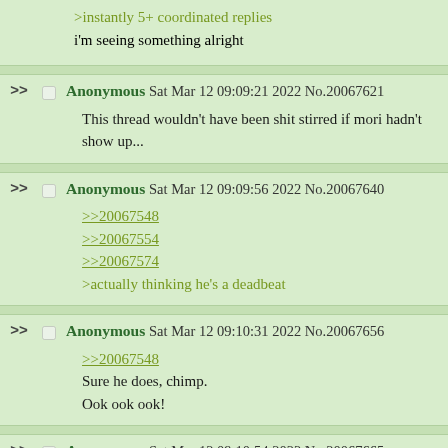>instantly 5+ coordinated replies
i'm seeing something alright
Anonymous Sat Mar 12 09:09:21 2022 No.20067621
This thread wouldn't have been shit stirred if mori hadn't show up...
Anonymous Sat Mar 12 09:09:56 2022 No.20067640
>>20067548
>>20067554
>>20067574
>actually thinking he's a deadbeat
Anonymous Sat Mar 12 09:10:31 2022 No.20067656
>>20067548
Sure he does, chimp.
Ook ook ook!
Anonymous Sat Mar 12 09:10:54 2022 No.20067665
>>20067621